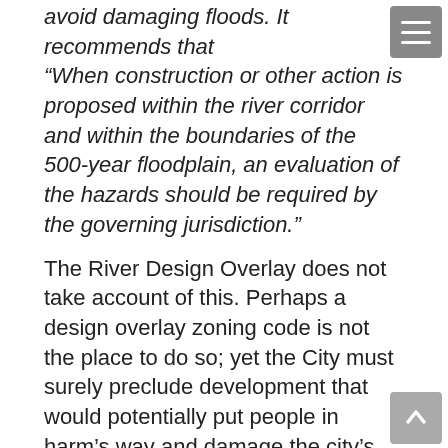“When construction or other action is proposed within the river corridor and within the boundaries of the 500-year floodplain, an evaluation of the hazards should be required by the governing jurisdiction.”
The River Design Overlay does not take account of this. Perhaps a design overlay zoning code is not the place to do so; yet the City must surely preclude development that would potentially put people in harm’s way and damage the city’s infrastructure.
On the same theme the Master Plan makes no mention of climate change (taboo in